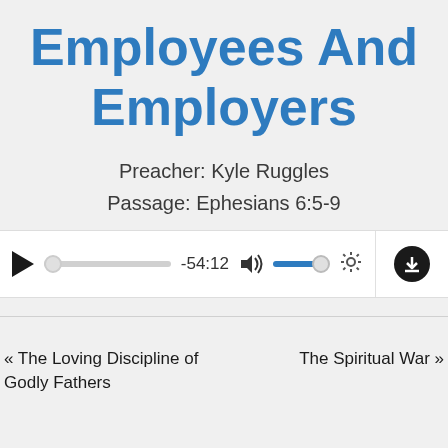Employees And Employers
Preacher: Kyle Ruggles
Passage: Ephesians 6:5-9
[Figure (screenshot): Audio player UI with play button, progress bar showing -54:12, volume control, settings gear icon, and download button]
« The Loving Discipline of Godly Fathers
The Spiritual War »